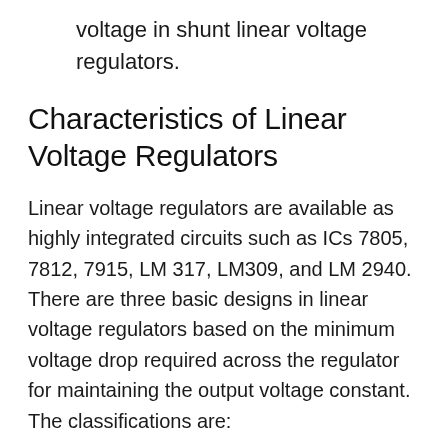voltage in shunt linear voltage regulators.
Characteristics of Linear Voltage Regulators
Linear voltage regulators are available as highly integrated circuits such as ICs 7805, 7812, 7915, LM 317, LM309, and LM 2940. There are three basic designs in linear voltage regulators based on the minimum voltage drop required across the regulator for maintaining the output voltage constant. The classifications are: